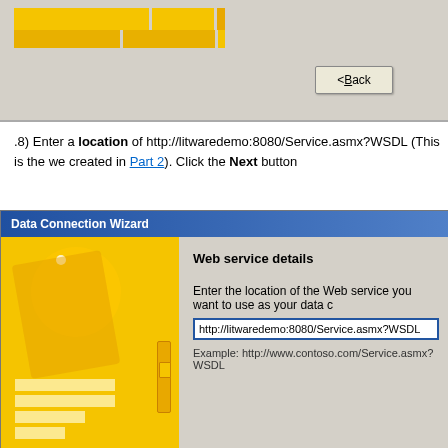[Figure (screenshot): Top portion of a wizard dialog showing yellow decorative bars and a Back button on a gray Windows-style background]
.8) Enter a location of http://litwaredemo:8080/Service.asmx?WSDL (This is the we created in Part 2). Click the Next button
[Figure (screenshot): Data Connection Wizard dialog showing 'Web service details' section with a URL input field containing http://litwaredemo:8080/Service.asmx?WSDL and an example URL below it]